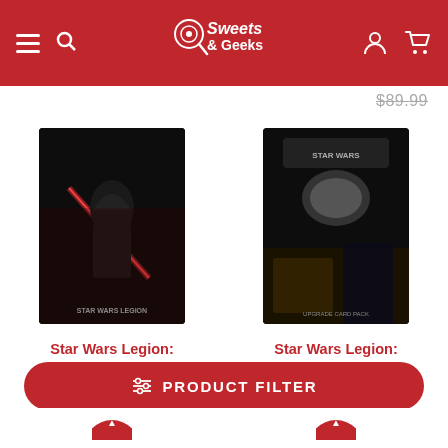Sweets & Geeks
$89.99
[Figure (photo): Star Wars Legion: Darth Vader product box art — dark background with Darth Vader and red lightsaber]
Star Wars Legion: Darth Vader
$19.99
[Figure (photo): Star Wars Legion: Upgrade Card Pack product box art — dark background with characters and golden accents]
Star Wars Legion: Upgrade Card Pack
$11.99
PRODUCT FILTER